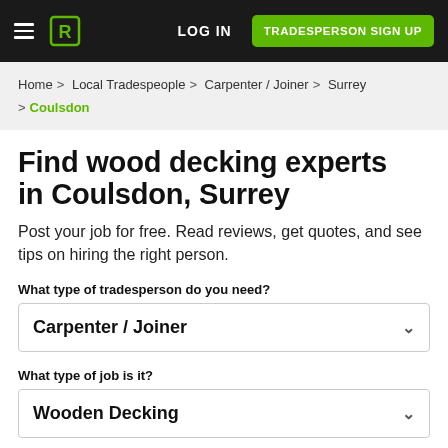LOG IN | TRADESPERSON SIGN UP
Home > Local Tradespeople > Carpenter / Joiner > Surrey > Coulsdon
Find wood decking experts in Coulsdon, Surrey
Post your job for free. Read reviews, get quotes, and see tips on hiring the right person.
What type of tradesperson do you need?
Carpenter / Joiner
What type of job is it?
Wooden Decking
NEXT STEP